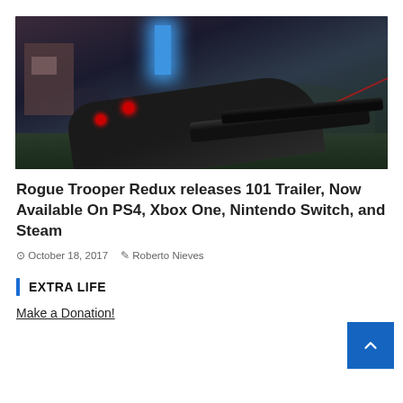[Figure (screenshot): Video game screenshot showing a first-person view with large dark weapons/guns in foreground, a character in blue/dark armor, blue glowing element in the background, against a dark sci-fi environment]
Rogue Trooper Redux releases 101 Trailer, Now Available On PS4, Xbox One, Nintendo Switch, and Steam
October 18, 2017  Roberto Nieves
EXTRA LIFE
Make a Donation!